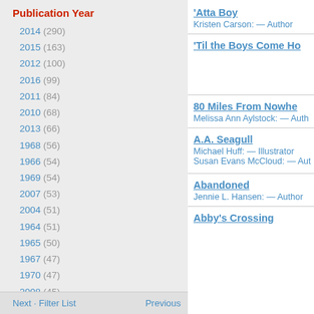Publication Year
2014 (290)
2015 (163)
2012 (100)
2016 (99)
2011 (84)
2010 (68)
2013 (66)
1968 (56)
1966 (54)
1969 (54)
2007 (53)
2004 (51)
1964 (51)
1965 (50)
1967 (47)
1970 (47)
2008 (45)
2005 (44)
2009 (43)
2001 (42)
Next · Filter List   Previous
'Atta Boy
Kristen Carson: — Author
'Til the Boys Come Ho
80 Miles From Nowhe
Melissa Ann Aylstock: — Auth
A.A. Seagull
Michael Huff: — Illustrator
Susan Evans McCloud: — Aut
Abandoned
Jennie L. Hansen: — Author
Abby's Crossing